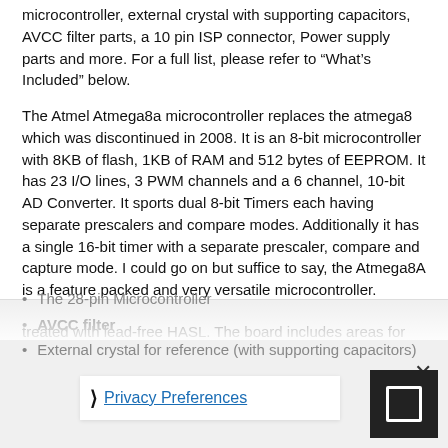microcontroller, external crystal with supporting capacitors, AVCC filter parts, a 10 pin ISP connector, Power supply parts and more. For a full list, please refer to “What’s Included” below.
The Atmel Atmega8a microcontroller replaces the atmega8 which was discontinued in 2008. It is an 8-bit microcontroller with 8KB of flash, 1KB of RAM and 512 bytes of EEPROM. It has 23 I/O lines, 3 PWM channels and a 6 channel, 10-bit AD Converter. It sports dual 8-bit Timers each having separate prescalers and compare modes. Additionally it has a single 16-bit timer with a separate prescaler, compare and capture mode. I could go on but suffice to say, the Atmega8A is a feature packed and very versatile microcontroller.
The development board measures 127 x 94mm (5″ x 3.7″) and conforms to the Protostack large-size form factor. It has 6 mounting holes and can be stacked with other large, medium and small boards. It is made of quality 1.6mm FR4 substrate and uses 1oz per sqr foot copper. All holes are through plates and treated with lead-free HASL. The board includes areas for
The 28-pin Microcontroller
AVCC filter
External crystal for reference (with supporting capacitors)